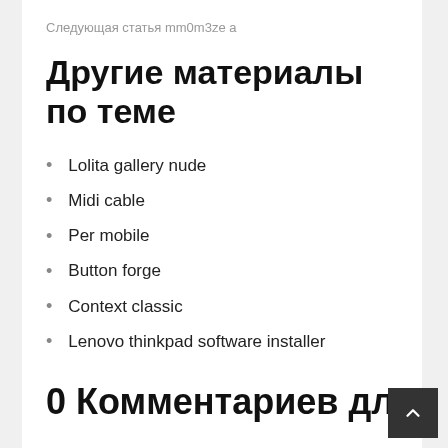Следующая статья mm0m3ze a
Другие материалы по теме
Lolita gallery nude
Midi cable
Per mobile
Button forge
Context classic
Lenovo thinkpad software installer
Virn
0 Комментариев для “Alexa